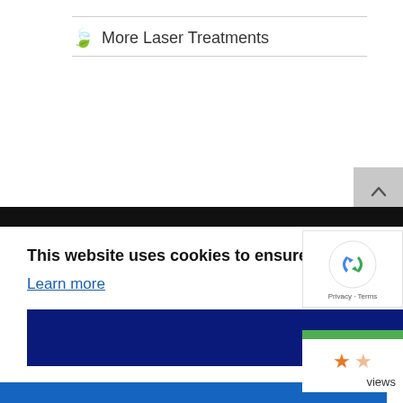More Laser Treatments
This website uses cookies to ensure you get the best experience on our website.
Learn more
Accept
[Figure (other): reCAPTCHA badge with Privacy and Terms links]
[Figure (other): Star rating widget showing approximately 1.5 stars out of 5 with 'views' label]
[Figure (other): Scroll-to-top button (grey square with up arrow)]